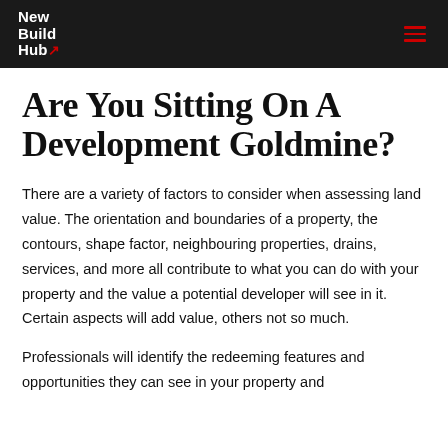New Build Hub
Are You Sitting On A Development Goldmine?
There are a variety of factors to consider when assessing land value. The orientation and boundaries of a property, the contours, shape factor, neighbouring properties, drains, services, and more all contribute to what you can do with your property and the value a potential developer will see in it. Certain aspects will add value, others not so much.
Professionals will identify the redeeming features and opportunities they can see in your property and